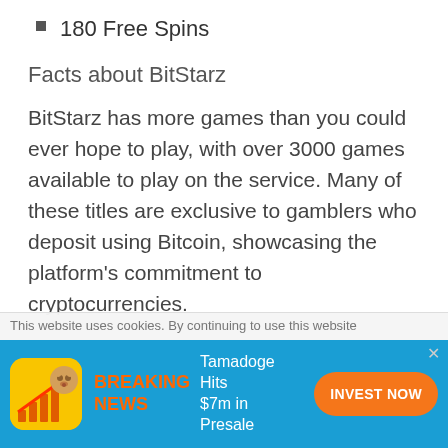180 Free Spins
Facts about BitStarz
BitStarz has more games than you could ever hope to play, with over 3000 games available to play on the service. Many of these titles are exclusive to gamblers who deposit using Bitcoin, showcasing the platform's commitment to cryptocurrencies.
From the moment it was established back in 2014, crypto evangelists have been flocking to the
This website uses cookies. By continuing to use this website
BREAKING NEWS  Tamadoge Hits $7m in Presale  INVEST NOW